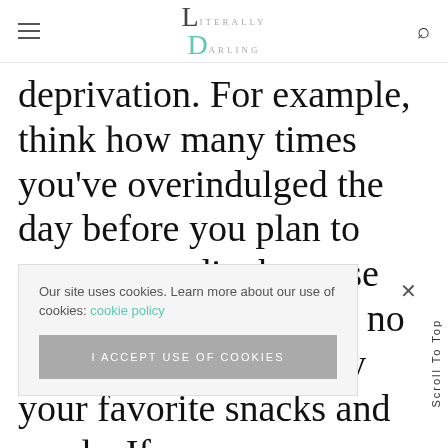Literally Darling
deprivation. For example, think how many times you've overindulged the day before you plan to start a new diet because that means you'll soon no longer be able to enjoy your favorite snacks and meals. If
Our site uses cookies. Learn more about our use of cookies: cookie policy
I ACCEPT USE OF COOKIES
find it
ounselor
to help change your mindset and work on
Scroll To Top